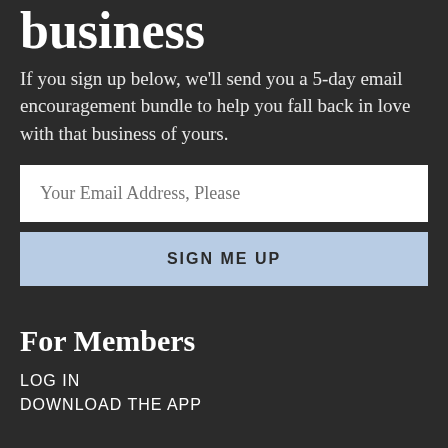business
If you sign up below, we'll send you a 5-day email encouragement bundle to help you fall back in love with that business of yours.
[Figure (other): Email address input field with placeholder text 'Your Email Address, Please']
[Figure (other): Button labeled 'SIGN ME UP' with light blue background]
For Members
LOG IN
DOWNLOAD THE APP